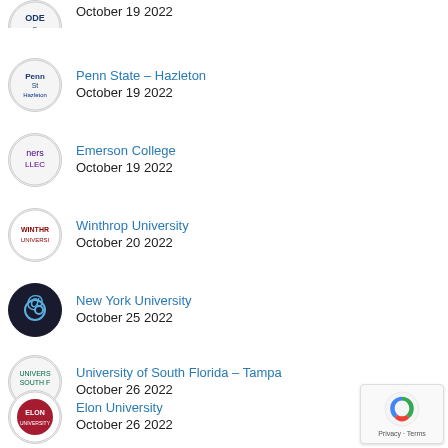October 19 2022 (partial entry at top)
Penn State – Hazleton
October 19 2022
Emerson College
October 19 2022
Winthrop University
October 20 2022
New York University
October 25 2022
University of South Florida – Tampa
October 26 2022
Elon University
October 26 2022